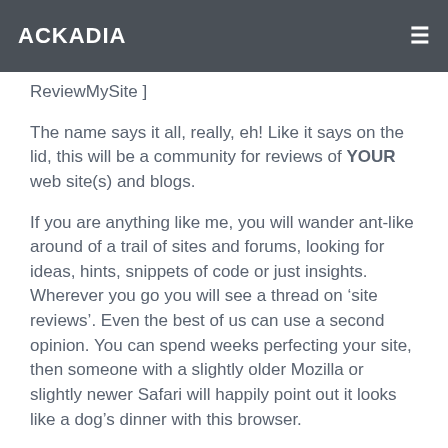ACKADIA
ReviewMySite ]
The name says it all, really, eh! Like it says on the lid, this will be a community for reviews of YOUR web site(s) and blogs.
If you are anything like me, you will wander ant-like around of a trail of sites and forums, looking for ideas, hints, snippets of code or just insights. Wherever you go you will see a thread on ‘site reviews’. Even the best of us can use a second opinion. You can spend weeks perfecting your site, then someone with a slightly older Mozilla or slightly newer Safari will happily point out it looks like a dog’s dinner with this browser.
Well, if you go there and ask, I probably will, just like it